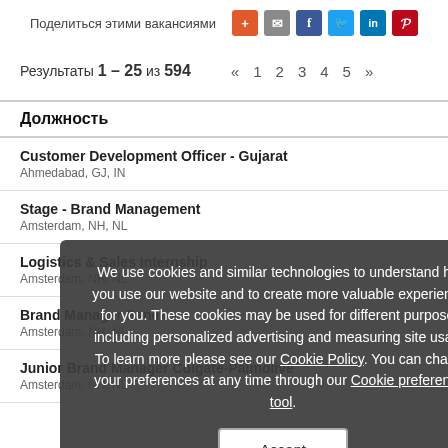Поделиться этими вакансиями
Результаты 1 – 25 из 594 « 1 2 3 4 5 »
Должность
Customer Development Officer - Gujarat
Ahmedabad, GJ, IN
Stage - Brand Management
Amsterdam, NH, NL
Logistics & Sales Internship
Amsterdam, NH, NL
Brand Manager Sanex
Amsterdam, NH, NL
Junior Brand Manager Colgate-Palmolive
Amsterdam, NH, NL
We use cookies and similar technologies to understand how you use our website and to create more valuable experiences for you. These cookies may be used for different purposes, including personalized advertising and measuring site usage. To learn more please see our Cookie Policy. You can change your preferences at any time through our Cookie preferences tool.